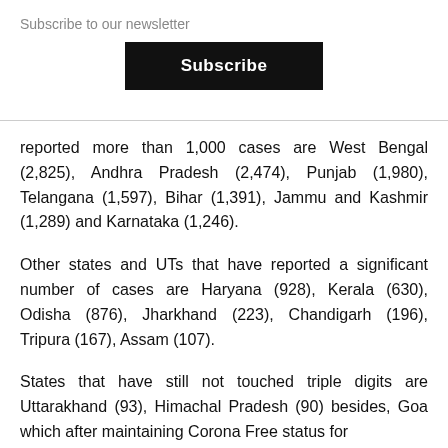Subscribe to our newsletter
Subscribe
reported more than 1,000 cases are West Bengal (2,825), Andhra Pradesh (2,474), Punjab (1,980), Telangana (1,597), Bihar (1,391), Jammu and Kashmir (1,289) and Karnataka (1,246).
Other states and UTs that have reported a significant number of cases are Haryana (928), Kerala (630), Odisha (876), Jharkhand (223), Chandigarh (196), Tripura (167), Assam (107).
States that have still not touched triple digits are Uttarakhand (93), Himachal Pradesh (90) besides, Goa which after maintaining Corona Free status for